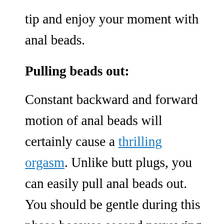tip and enjoy your moment with anal beads.
Pulling beads out:
Constant backward and forward motion of anal beads will certainly cause a thrilling orgasm. Unlike butt plugs, you can easily pull anal beads out. You should be gentle during this phase because second narrowing of the anal canal, near sphincter muscles, will be stretched again. If you pull it out roughly, it may be a painful experience. You must feel